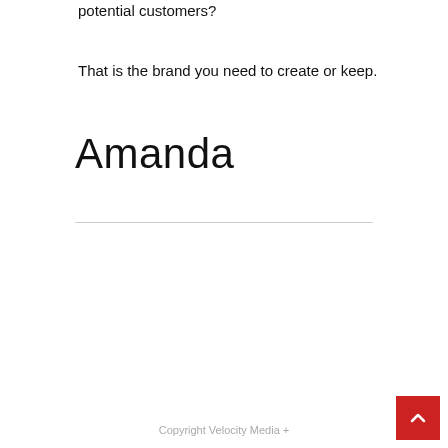potential customers?
That is the brand you need to create or keep.
Amanda
Copyright Velocity Media +